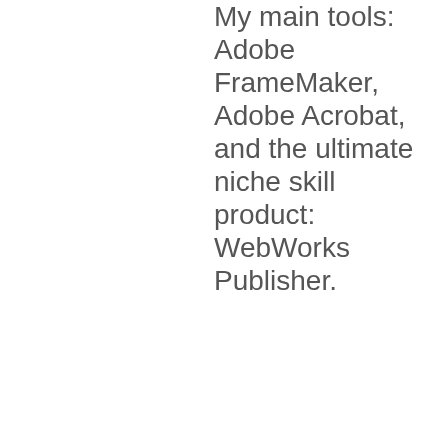My main tools: Adobe FrameMaker, Adobe Acrobat, and the ultimate niche skill product: WebWorks Publisher.
The new company I was joining had been my client for the previous 1 1/2 years. I owned